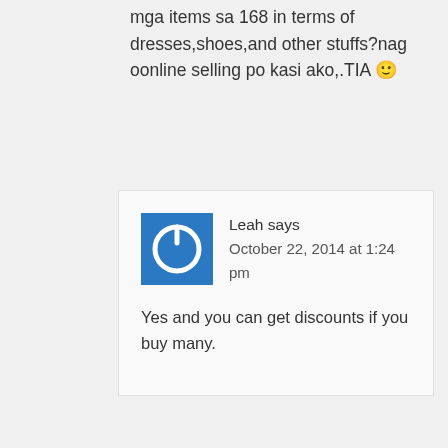mga items sa 168 in terms of dresses,shoes,and other stuffs?nag oonline selling po kasi ako,.TIA 🙂
Leah says October 22, 2014 at 1:24 pm
Yes and you can get discounts if you buy many.